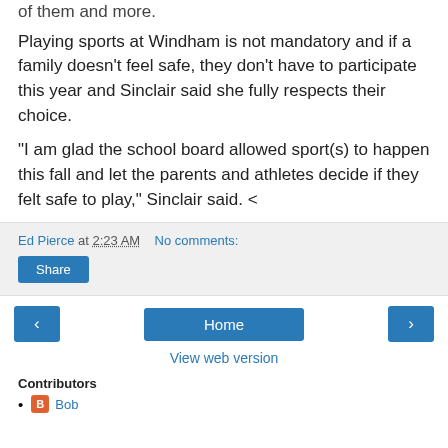of them and more.
Playing sports at Windham is not mandatory and if a family doesn't feel safe, they don't have to participate this year and Sinclair said she fully respects their choice.
“I am glad the school board allowed sport(s) to happen this fall and let the parents and athletes decide if they felt safe to play,” Sinclair said. <
Ed Pierce at 2:23 AM   No comments:
Share
Home
View web version
Contributors
Bob